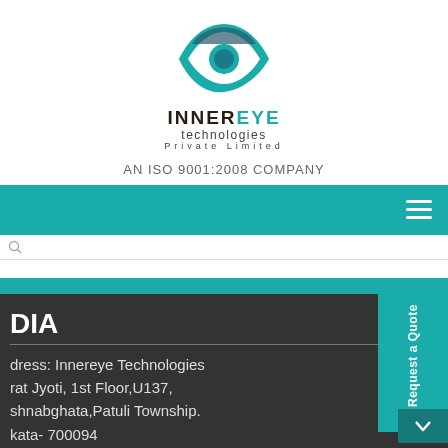[Figure (logo): Innereye Technologies Private Limited logo — teal eye/leaf icon above the company name in dark brown/black text with 'technologies' and 'Private Limited' in smaller text]
AN ISO 9001:2008 COMPANY
[Figure (screenshot): Teal navigation bar with hamburger menu icon on the right]
[Figure (screenshot): Search bar below navigation]
DIA
dress: Innereye Technologies
rat Jyoti, 1st Floor,U137,
shnabghata,Patuli Township.
kata- 700094
st Bengal

ntacts no: +91 9088992222